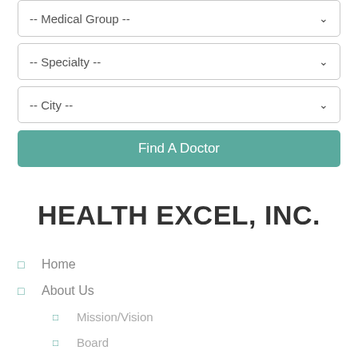[Figure (screenshot): Dropdown select box with label '-- Medical Group --' and a chevron icon]
[Figure (screenshot): Dropdown select box with label '-- Specialty --' and a chevron icon]
[Figure (screenshot): Dropdown select box with label '-- City --' and a chevron icon]
[Figure (screenshot): Teal/green button labeled 'Find A Doctor']
HEALTH EXCEL, INC.
Home
About Us
Mission/Vision
Board